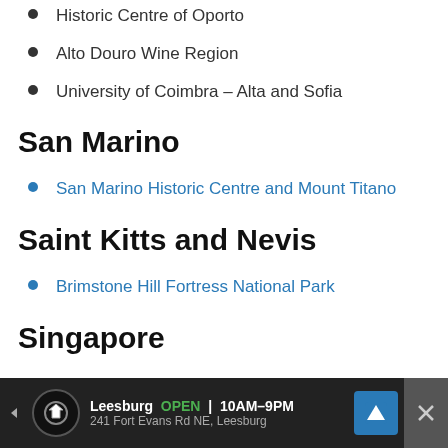Historic Centre of Oporto
Alto Douro Wine Region
University of Coimbra – Alta and Sofia
San Marino
San Marino Historic Centre and Mount Titano
Saint Kitts and Nevis
Brimstone Hill Fortress National Park
Singapore
Singapore Botanical Gardens